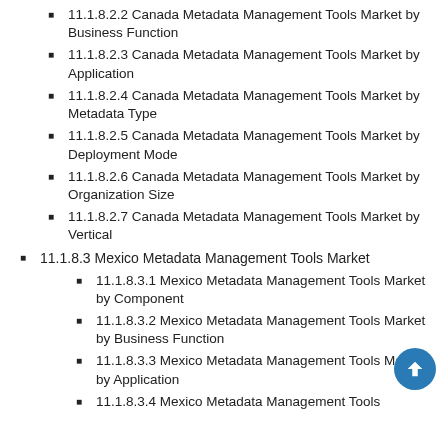11.1.8.2.2 Canada Metadata Management Tools Market by Business Function
11.1.8.2.3 Canada Metadata Management Tools Market by Application
11.1.8.2.4 Canada Metadata Management Tools Market by Metadata Type
11.1.8.2.5 Canada Metadata Management Tools Market by Deployment Mode
11.1.8.2.6 Canada Metadata Management Tools Market by Organization Size
11.1.8.2.7 Canada Metadata Management Tools Market by Vertical
11.1.8.3 Mexico Metadata Management Tools Market
11.1.8.3.1 Mexico Metadata Management Tools Market by Component
11.1.8.3.2 Mexico Metadata Management Tools Market by Business Function
11.1.8.3.3 Mexico Metadata Management Tools Market by Application
11.1.8.3.4 Mexico Metadata Management Tools